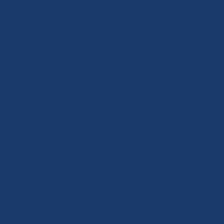to o thought the Aussie captain was absolutely superb in